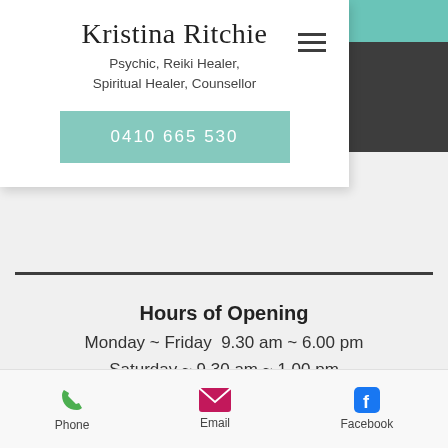Kristina Ritchie
Psychic, Reiki Healer, Spiritual Healer, Counsellor
0410 665 530
Hours of Opening
Monday ~ Friday  9.30 am ~ 6.00 pm
Saturday ~ 9.30 am ~ 1.00 pm
Times can be made out of hours where
Phone  Email  Facebook